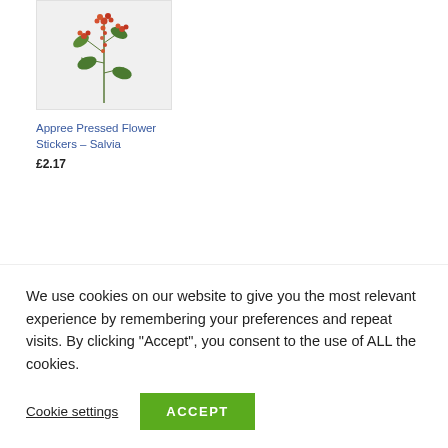[Figure (photo): Product image of Appree Pressed Flower Stickers – Salvia, showing pressed red/orange flowers and green leaves on white background]
Appree Pressed Flower Stickers – Salvia
£2.17
[Figure (photo): Two small product thumbnails: one showing black circular pattern sticker, another showing colorful floral/polka dot pattern sticker sheet]
We use cookies on our website to give you the most relevant experience by remembering your preferences and repeat visits. By clicking "Accept", you consent to the use of ALL the cookies.
Cookie settings
ACCEPT